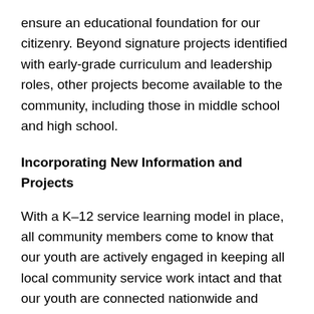ensure an educational foundation for our citizenry. Beyond signature projects identified with early-grade curriculum and leadership roles, other projects become available to the community, including those in middle school and high school.
Incorporating New Information and Projects
With a K–12 service learning model in place, all community members come to know that our youth are actively engaged in keeping all local community service work intact and that our youth are connected nationwide and reaching out globally. The most expedient way to disseminate new information to the community is through this educational channel.
One current example of how students and schools can